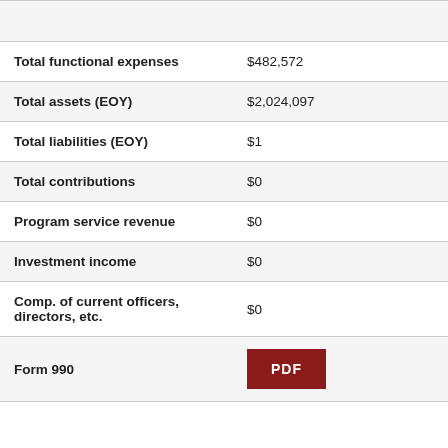| Field | Value |
| --- | --- |
| Total functional expenses | $482,572 |
| Total assets (EOY) | $2,024,097 |
| Total liabilities (EOY) | $1 |
| Total contributions | $0 |
| Program service revenue | $0 |
| Investment income | $0 |
| Comp. of current officers, directors, etc. | $0 |
| Form 990 | PDF |